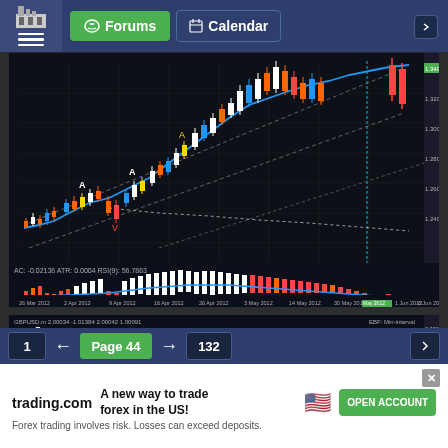Forums | Calendar
[Figure (continuous-plot): Forex trading chart 1 - candlestick chart showing uptrend with MACD histogram below. Timeframe from Mar 2012 to Jun 2012. Shows bullish trend with candlesticks, moving averages (blue line), and momentum indicators.]
[Figure (continuous-plot): Forex trading chart 2 - candlestick chart showing downtrend with orange/red/blue/white candlesticks and moving averages. Labeled GBPUSD.m showing bearish trend.]
1 ← Page 44 → 132
trading.com  A new way to trade forex in the US!  OPEN ACCOUNT  Forex trading involves risk. Losses can exceed deposits.